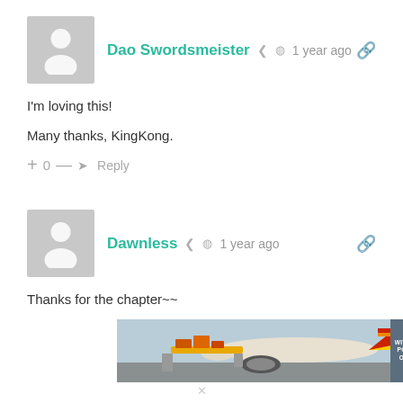[Figure (other): User avatar placeholder for Dao Swordsmeister — grey square with white person silhouette]
Dao Swordsmeister  1 year ago
I'm loving this!

Many thanks, KingKong.
+ 0 —  Reply
[Figure (other): User avatar placeholder for Dawnless — grey square with white person silhouette]
Dawnless  1 year ago
Thanks for the chapter~~
[Figure (photo): Advertisement banner showing cargo being loaded onto an airplane, with text panel reading WITHOUT REGARD TO POLITICS, RELIGION OR ABILITY TO PAY]
×